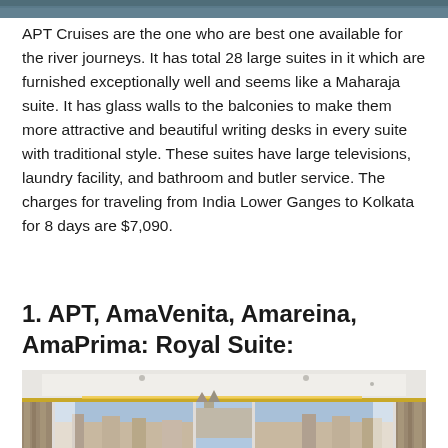[Figure (photo): Top portion of a river or water scene, partial view at top of page]
APT Cruises are the one who are best one available for the river journeys. It has total 28 large suites in it which are furnished exceptionally well and seems like a Maharaja suite. It has glass walls to the balconies to make them more attractive and beautiful writing desks in every suite with traditional style. These suites have large televisions, laundry facility, and bathroom and butler service. The charges for traveling from India Lower Ganges to Kolkata for 8 days are $7,090.
1. APT, AmaVenita, Amareina, AmaPrima: Royal Suite:
[Figure (photo): Interior of a luxury river cruise suite (Royal Suite) with large panoramic glass windows showing a European town with cathedral spires, white curtains, modern white ceiling with gold accent lighting strip, and bright spacious room]